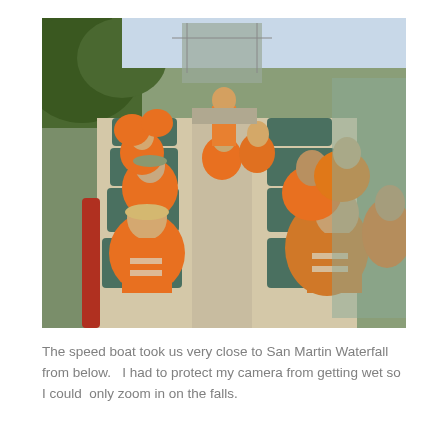[Figure (photo): A large group of tourists seated on a wide speedboat on a brown river, all wearing orange life vests. The boat has green seats arranged in rows on both sides of a central aisle. A guide in orange stands at the back near the boat controls. Lush green jungle is visible on the left bank. The scene is taken from the front of the boat looking toward the stern.]
The speed boat took us very close to San Martin Waterfall from below.   I had to protect my camera from getting wet so I could  only zoom in on the falls.